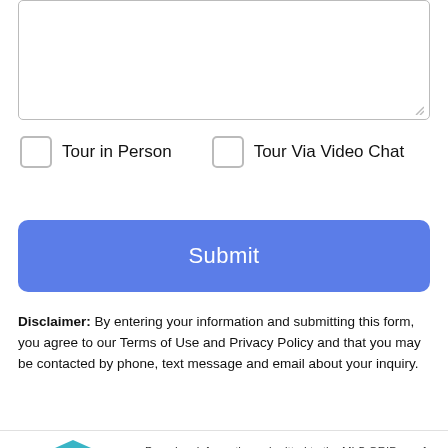[Figure (screenshot): Empty text area input box with resize handle at bottom right]
Tour in Person
Tour Via Video Chat
Submit
Disclaimer: By entering your information and submitting this form, you agree to our Terms of Use and Privacy Policy and that you may be contacted by phone, text message and email about your inquiry.
[Figure (logo): MLS GRID logo with stacked colored squares icon]
Based on information submitted to the MLS GRID as of 2022-08-19T09:33:50.443 UTC. All data is obtained from various sources and may not have been verified by broker or MLS GRID. Supplied Open House Information is
Take a Tour
Ask A Question